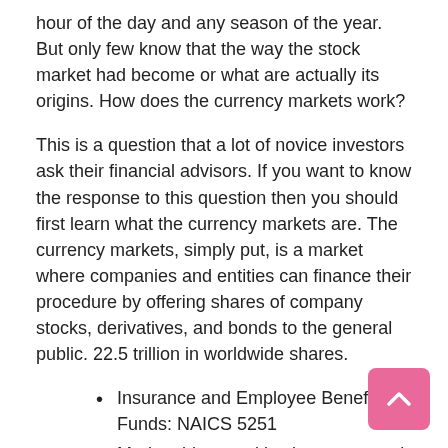hour of the day and any season of the year. But only few know that the way the stock market had become or what are actually its origins. How does the currency markets work?
This is a question that a lot of novice investors ask their financial advisors. If you want to know the response to this question then you should first learn what the currency markets are. The currency markets, simply put, is a market where companies and entities can finance their procedure by offering shares of company stocks, derivatives, and bonds to the general public. 22.5 trillion in worldwide shares.
Insurance and Employee Benefit Funds: NAICS 5251
Marketable securities increases and losses
Mike from New Orleans, NY Times Comments, 2011